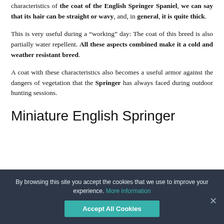characteristics of the coat of the English Springer Spaniel, we can say that its hair can be straight or wavy, and, in general, it is quite thick.
This is very useful during a “working” day: The coat of this breed is also partially water repellent. All these aspects combined make it a cold and weather resistant breed.
A coat with these characteristics also becomes a useful armor against the dangers of vegetation that the Springer has always faced during outdoor hunting sessions.
Miniature English Springer
By browsing this site you accept the cookies that we use to improve your experience. More information